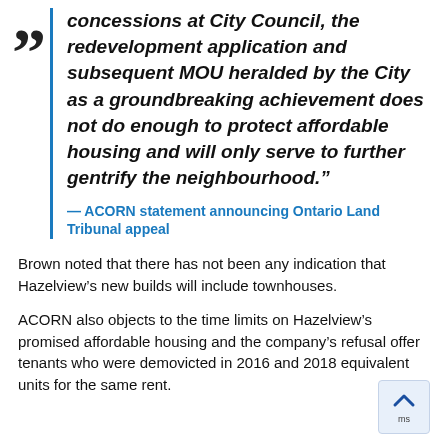concessions at City Council, the redevelopment application and subsequent MOU heralded by the City as a groundbreaking achievement does not do enough to protect affordable housing and will only serve to further gentrify the neighbourhood."
— ACORN statement announcing Ontario Land Tribunal appeal
Brown noted that there has not been any indication that Hazelview's new builds will include townhouses.
ACORN also objects to the time limits on Hazelview's promised affordable housing and the company's refusal offer tenants who were demovicted in 2016 and 2018 equivalent units for the same rent.